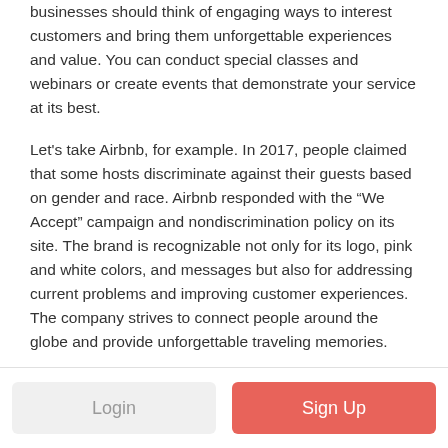businesses should think of engaging ways to interest customers and bring them unforgettable experiences and value. You can conduct special classes and webinars or create events that demonstrate your service at its best.
Let's take Airbnb, for example. In 2017, people claimed that some hosts discriminate against their guests based on gender and race. Airbnb responded with the “We Accept” campaign and nondiscrimination policy on its site. The brand is recognizable not only for its logo, pink and white colors, and messages but also for addressing current problems and improving customer experiences. The company strives to connect people around the globe and provide unforgettable traveling memories.
Login | Sign Up